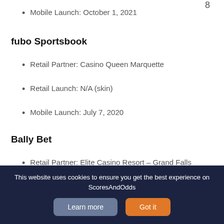Mobile Launch: October 1, 2021
fubo Sportsbook
Retail Partner: Casino Queen Marquette
Retail Launch: N/A (skin)
Mobile Launch: July 7, 2020
Bally Bet
Retail Partner: Elite Casino Resort – Grand Falls
Retail Launch: N/A (skin)
This website uses cookies to ensure you get the best experience on ScoresAndOdds